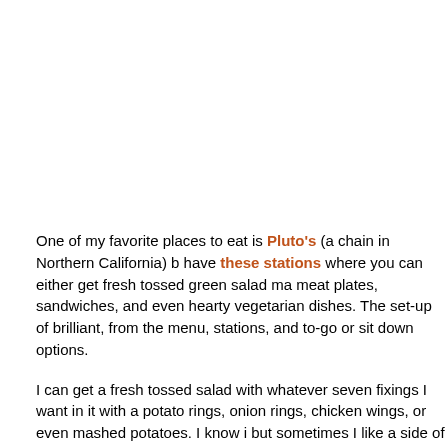One of my favorite places to eat is Pluto's (a chain in Northern California) b have these stations where you can either get fresh tossed green salad ma meat plates, sandwiches, and even hearty vegetarian dishes. The set-up of brilliant, from the menu, stations, and to-go or sit down options.
I can get a fresh tossed salad with whatever seven fixings I want in it with a potato rings, onion rings, chicken wings, or even mashed potatoes. I know i but sometimes I like a side of mashed taters with salad. If you're into chicke BBQ wings are awesome. I get them as often as I can.
Above is salad I ate the other day which had mixed greens, beets, jicama, c mushrooms, tomatoes, garbanzos, and carmelized onions topped with a he Herb Roasted Sonoma Turkey and mixed with honey mustard dressing. Jus an idea, the plate above is their side dish size, and it's pretty big. I ate half a